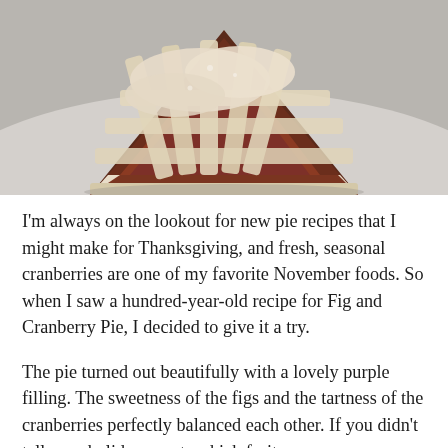[Figure (photo): Close-up photo of a slice of pie with lattice crust on top, showing a dark reddish-purple filling, placed on a light gray/white surface.]
I'm always on the lookout for new pie recipes that I might make for Thanksgiving, and fresh, seasonal cranberries are one of my favorite November foods. So when I saw a hundred-year-old recipe for Fig and Cranberry Pie, I decided to give it a try.
The pie turned out beautifully with a lovely purple filling. The sweetness of the figs and the tartness of the cranberries perfectly balanced each other. If you didn't tell your holiday guests which fruits were